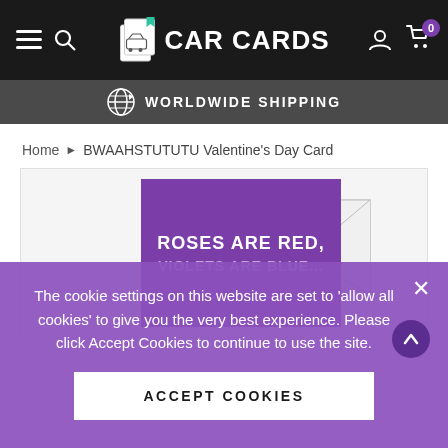CAR CARDS — navigation bar with hamburger menu, search, logo, user icon, cart (0)
WORLDWIDE SHIPPING
Home › BWAAHSTUTUTU Valentine's Day Card
[Figure (photo): Product photo showing a purple greeting card with text 'ROSES ARE RED, VIOLETS ARE BLUE...' alongside a white envelope on a light background]
The cookie settings on this website are set to 'allow all cookies' to give you the very best experience. Please click Accept Cookies to continue to use the site.
ACCEPT COOKIES